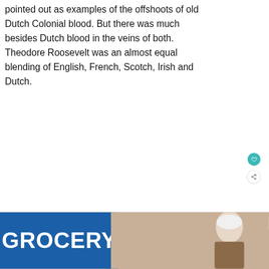pointed out as examples of the offshoots of old Dutch Colonial blood. But there was much besides Dutch blood in the veins of both. Theodore Roosevelt was an almost equal blending of English, French, Scotch, Irish and Dutch.
[Figure (other): Advertisement banner showing 'GROCERY' text in white on blue background with a person on the right side]